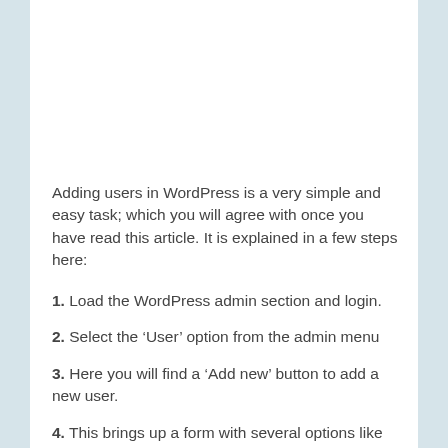Adding users in WordPress is a very simple and easy task; which you will agree with once you have read this article. It is explained in a few steps here:
1. Load the WordPress admin section and login.
2. Select the ‘User’ option from the admin menu
3. Here you will find a ‘Add new’ button to add a new user.
4. This brings up a form with several options like